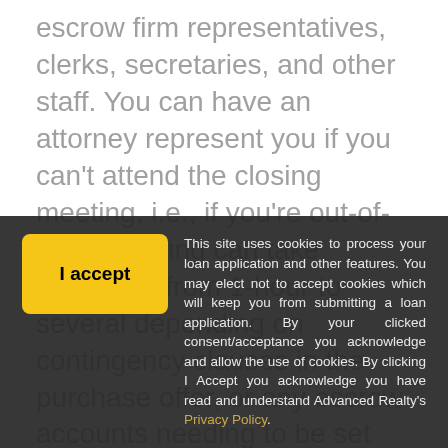escrow firm representatives, clerks, secretaries, and other staff. You can have an attorney represent you if you can't attend the closing meeting, i.e., if you're out-of-state. Closing can take anywhere from 1-hour to several depending on contingency clauses in the purchase offer, or any escrow accounts needing to be set up.

Most paperwork in closing or settlement is done by attorneys and real estate professionals. You may be asked to sign or initial many closing activities. Each closing activity is carefully worked with...

Prior to closing you should have a final inspection, or "walk-through" to insure requested
This site uses cookies to process your loan application and other features. You may elect not to accept cookies which will keep you from submitting a loan application. By your clicked consent/acceptance you acknowledge and allow the use of cookies. By clicking I Accept you acknowledge you have read and understand Advanced Realty's Privacy Policy.